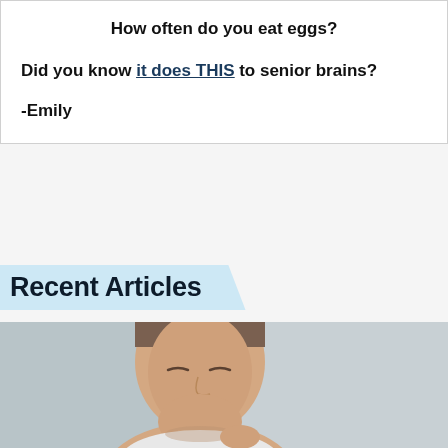How often do you eat eggs?
Did you know it does THIS to senior brains?
-Emily
Recent Articles
[Figure (photo): A man with closed eyes looking downward, appearing thoughtful or in pain, against a light gray background.]